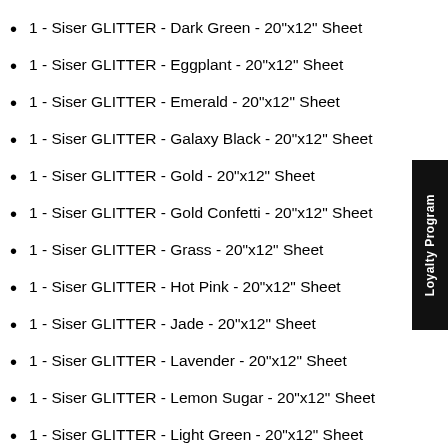1 - Siser GLITTER - Dark Green - 20"x12" Sheet
1 - Siser GLITTER - Eggplant - 20"x12" Sheet
1 - Siser GLITTER - Emerald - 20"x12" Sheet
1 - Siser GLITTER - Galaxy Black - 20"x12" Sheet
1 - Siser GLITTER - Gold - 20"x12" Sheet
1 - Siser GLITTER - Gold Confetti - 20"x12" Sheet
1 - Siser GLITTER - Grass - 20"x12" Sheet
1 - Siser GLITTER - Hot Pink - 20"x12" Sheet
1 - Siser GLITTER - Jade - 20"x12" Sheet
1 - Siser GLITTER - Lavender - 20"x12" Sheet
1 - Siser GLITTER - Lemon Sugar - 20"x12" Sheet
1 - Siser GLITTER - Light Green - 20"x12" Sheet
1 - Siser GLITTER - Light Multi - 20"x12" Sheet
1 - Siser GLITTER - Mermaid Blue - 20"x12" Sheet